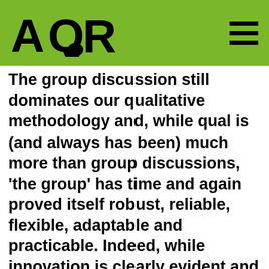[Figure (logo): AQR logo with speech bubble incorporated into the Q letter, on a green background header bar with hamburger menu icon]
The group discussion still dominates our qualitative methodology and, while qual is (and always has been) much more than group discussions, ‘the group’ has time and again proved itself robust, reliable, flexible, adaptable and practicable. Indeed, while innovation is clearly evident and some pioneering qual agencies actually do very little conventional fieldwork nowadays, it remains true that the bulk of demand is for groups ‘n’ depths.
Aside from some more workshop-style groups and in non-fieldwork-based methods, the respondents themselves will probably be doing more or less the